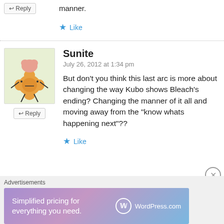manner.
Like
Sunite
July 26, 2012 at 1:34 pm
But don’t you think this last arc is more about changing the way Kubo shows Bleach’s ending? Changing the manner of it all and moving away from the “know whats happening next”??
Like
Advertisements
[Figure (screenshot): WordPress.com advertisement banner: 'Simplified pricing for everything you need.' with WordPress.com logo]